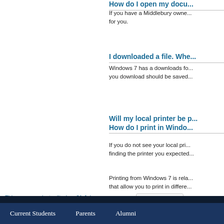How do I open my docu...
If you have a Middlebury owne... for you.
I downloaded a file. Whe...
Windows 7 has a downloads fo... you download should be saved...
Will my local printer be p... How do I print in Windo...
If you do not see your local pri... finding the printer you expected...
Printing from Windows 7 is rela... that allow you to print in differe...
This page was last edited on 21 July 2022, at 16:29.
[Figure (logo): Powered by MediaWiki badge/logo]
Privacy policy
About Library & ITS Wiki
Disclaimers
Categories: OutOfDate | TD...
Current Students   Parents   Alumni